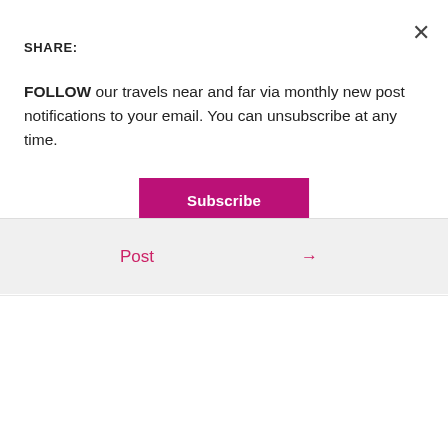SHARE:
FOLLOW our travels near and far via monthly new post notifications to your email. You can unsubscribe at any time.
Subscribe
Post →
29 thoughts on “Our Family European Road Trip”